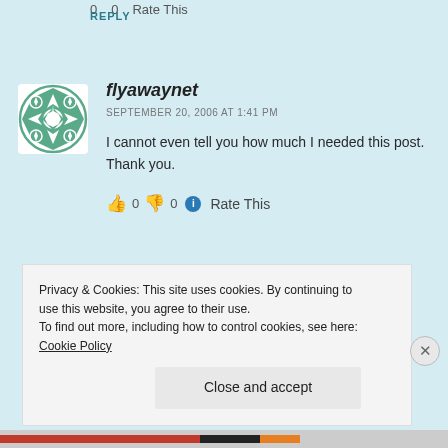0   0   Rate This
REPLY
[Figure (illustration): Circular geometric mandala-style avatar icon in teal/green tones with white star/snowflake pattern on white background]
flyawaynet
SEPTEMBER 20, 2006 AT 1:41 PM
I cannot even tell you how much I needed this post. Thank you.
👍 0 👎 0 ℹ Rate This
Privacy & Cookies: This site uses cookies. By continuing to use this website, you agree to their use.
To find out more, including how to control cookies, see here: Cookie Policy
Close and accept